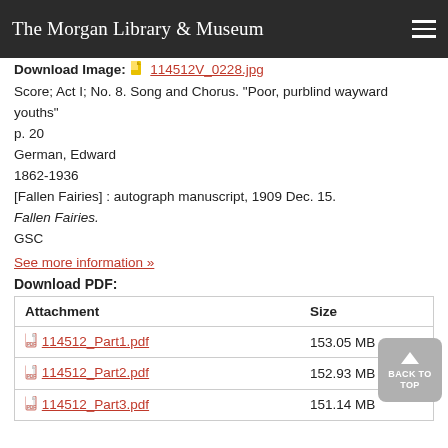The Morgan Library & Museum
Download Image: 114512V_0228.jpg
Score; Act I; No. 8. Song and Chorus. "Poor, purblind wayward youths"
p. 20
German, Edward
1862-1936
[Fallen Fairies] : autograph manuscript, 1909 Dec. 15.
Fallen Fairies.
GSC
See more information »
Download PDF:
| Attachment | Size |
| --- | --- |
| 114512_Part1.pdf | 153.05 MB |
| 114512_Part2.pdf | 152.93 MB |
| 114512_Part3.pdf | 151.14 MB |